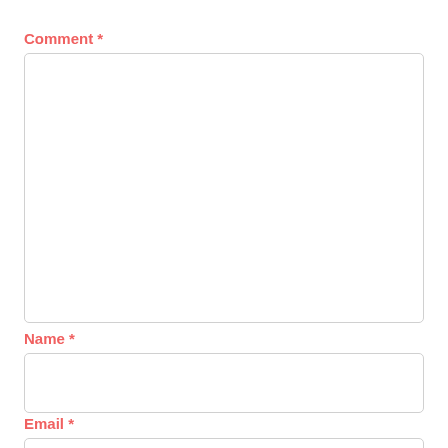Comment *
[Figure (other): Empty comment text area input box with light gray border and rounded corners]
Name *
[Figure (other): Empty name text input box with light gray border and rounded corners]
Email *
[Figure (other): Empty email text input box with light gray border and rounded corners (partially visible)]